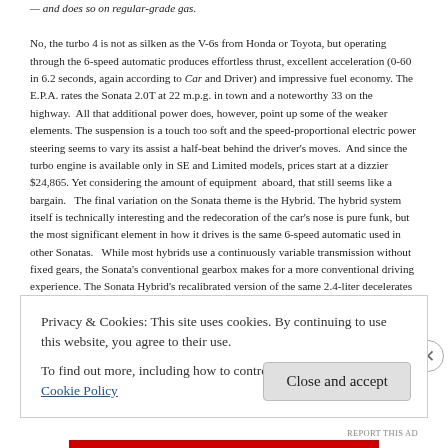— and does so on regular-grade gas.
No, the turbo 4 is not as silken as the V-6s from Honda or Toyota, but operating through the 6-speed automatic produces effortless thrust, excellent acceleration (0-60 in 6.2 seconds, again according to Car and Driver) and impressive fuel economy. The E.P.A. rates the Sonata 2.0T at 22 m.p.g. in town and a noteworthy 33 on the highway. All that additional power does, however, point up some of the weaker elements. The suspension is a touch too soft and the speed-proportional electric power steering seems to vary its assist a half-beat behind the driver's moves. And since the turbo engine is available only in SE and Limited models, prices start at a dizzier $24,865. Yet considering the amount of equipment aboard, that still seems like a bargain. The final variation on the Sonata theme is the Hybrid. The hybrid system itself is technically interesting and the redecoration of the car's nose is pure funk, but the most significant element in how it drives is the same 6-speed automatic used in other Sonatas. While most hybrids use a continuously variable transmission without fixed gears, the Sonata's conventional gearbox makes for a more conventional driving experience. The Sonata Hybrid's recalibrated version of the same 2.4-liter decelerates with the gear changes. For those of us who despise the engine drone associated with CVTs, that sound is a relief. Otherwise, the drivetrain machinations of the Hyundai hybrid system are almost invisible as long as the car is driven moderately.
In fact, if it weren't for the electro-luminescent instrument panel and the liquid-crystal display between the tachometer and speedometer that graphically encourages economical driving, many drivers wouldn't notice much
Privacy & Cookies: This site uses cookies. By continuing to use this website, you agree to their use.
To find out more, including how to control cookies, see here: Cookie Policy